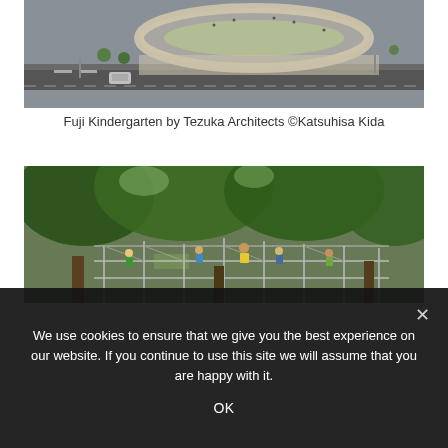[Figure (photo): Aerial view of Fuji Kindergarten, a circular/oval building seen from above, surrounded by streets with a car visible, urban setting in Japan.]
Fuji Kindergarten by Tezuka Architects ©Katsuhisa Kida
[Figure (photo): Ground-level photo of children playing on scaffolding/climbing structure under large green trees at Fuji Kindergarten.]
We use cookies to ensure that we give you the best experience on our website. If you continue to use this site we will assume that you are happy with it.
OK